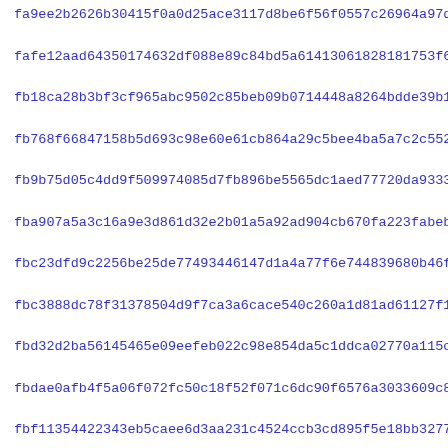fa9ee2b2626b30415f0a0d25ace3117d8be6f56f0557c26964a97d74ba670
fafe12aad64350174632df088e89c84bd5a614130618281817​53f64a5c017
fb18ca28b3bf3cf965abc9502c85beb09b0714448a8264bdde39b1cee4e3e
fb768f66847158b5d693c98e60e61cb864a29c5bee4ba5a7c2c552b7219d9
fb9b75d05c4dd9f509974085d7fb896be5565dc1aed77720da933300f70217
fba907a5a3c16a9e3d861d32e2b01a5a92ad904cb670fa223fabebf727243
fbc23dfd9c2256be25de774934461​47d1a4a77f6e744839680b46fba88671
fbc3888dc78f31378504d9f7ca3a6cace540c260a1d81ad61127f1a1eb9de
fbd32d2ba56145465e09eefeb022c98e854da5c1ddca02770a115c84c03e9
fbdae0afb4f5a06f072fc50c18f52f071c6dc90f6576a3033609c8895ad6b
fbf11354422343eb5caee6d3aa231c4524ccb3cd895f5e18bb3277c98d54d